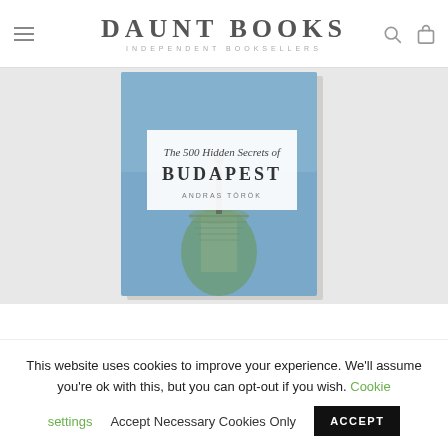DAUNT BOOKS — INDEPENDENT BOOKSELLERS
[Figure (photo): Book cover of 'The 500 Hidden Secrets of Budapest' by Andras Torok, showing an architectural tower against a blue sky, displayed as a product image on a light grey background.]
This website uses cookies to improve your experience. We'll assume you're ok with this, but you can opt-out if you wish. Cookie settings   Accept Necessary Cookies Only   ACCEPT